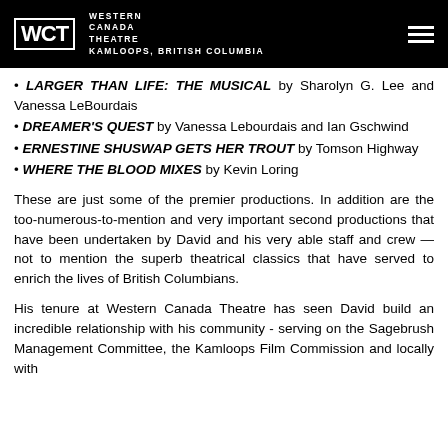WCT WESTERN CANADA THEATRE
LARGER THAN LIFE: THE MUSICAL by Sharolyn G. Lee and Vanessa LeBourdais
DREAMER'S QUEST by Vanessa Lebourdais and Ian Gschwind
ERNESTINE SHUSWAP GETS HER TROUT by Tomson Highway
WHERE THE BLOOD MIXES by Kevin Loring
These are just some of the premier productions. In addition are the too-numerous-to-mention and very important second productions that have been undertaken by David and his very able staff and crew — not to mention the superb theatrical classics that have served to enrich the lives of British Columbians.
His tenure at Western Canada Theatre has seen David build an incredible relationship with his community - serving on the Sagebrush Management Committee, the Kamloops Film Commission and beyond...